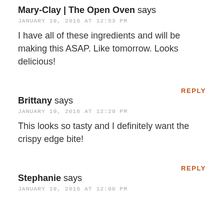Mary-Clay | The Open Oven says
JANUARY 19, 2016 AT 12:53 PM
I have all of these ingredients and will be making this ASAP. Like tomorrow. Looks delicious!
REPLY
Brittany says
JANUARY 19, 2016 AT 12:29 PM
This looks so tasty and I definitely want the crispy edge bite!
REPLY
Stephanie says
JANUARY 19, 2016 AT 12:00 PM